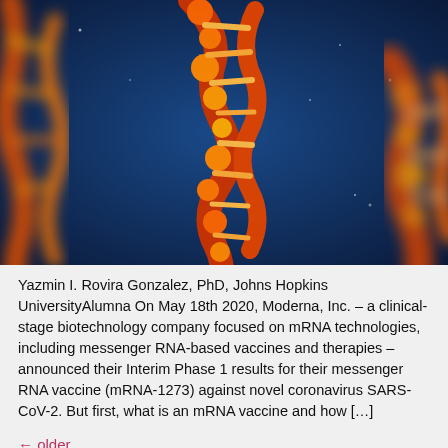[Figure (photo): 3D illustration of glowing orange-red DNA double helix strands against a dark blue background with light particles/stars]
Yazmin I. Rovira Gonzalez, PhD, Johns Hopkins UniversityAlumna On May 18th 2020, Moderna, Inc. – a clinical-stage biotechnology company focused on mRNA technologies, including messenger RNA-based vaccines and therapies – announced their Interim Phase 1 results for their messenger RNA vaccine (mRNA-1273) against novel coronavirus SARS-CoV-2. But first, what is an mRNA vaccine and how […]
← older